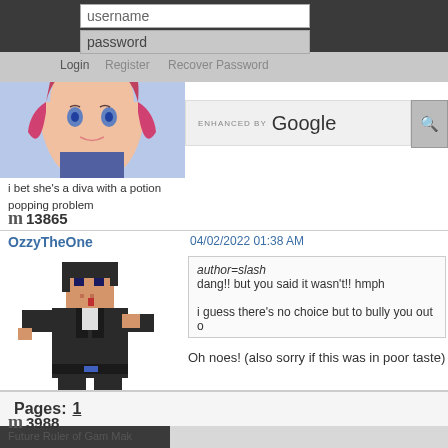rmn - username / password login fields with Actions bar and Google enhanced search bar visible
[Figure (screenshot): Anime-style character avatar, female with pink/red hair and blue outfit]
i bet she's a diva with a potion popping problem
m 13865
OzzyTheOne
04/02/2022 01:38 AM
[Figure (illustration): Pixel art character - person in dark suit/coat in action pose]
author=slash
dang!! but you said it wasn't!! hmph

i guess there's no choice but to bully you out o
Oh noes! (also sorry if this was in poor taste)
Future Ruler of Gam Mak
m 3988
Pages: 1